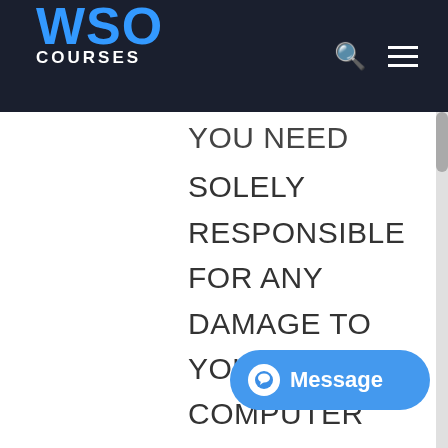WSO COURSES
YOU NEED SOLELY RESPONSIBLE FOR ANY DAMAGE TO YOUR COMPUTER SYSTEM OR OTHER DEVICE OR LOSS OF DATA THAT RESULTS FROM THE
[Figure (other): Blue Message chat button with speech bubble icon in bottom right corner]